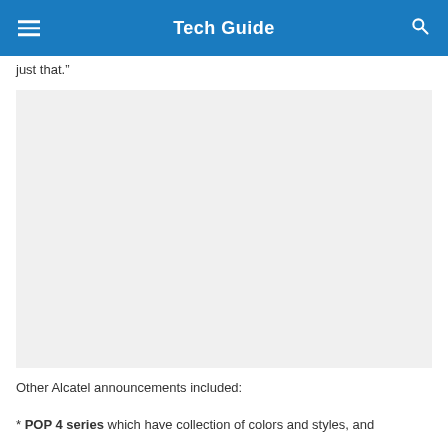Tech Guide
just that.”
[Figure (photo): Large image placeholder with light gray background]
Other Alcatel announcements included:
* POP 4 series which have collection of colors and styles, and